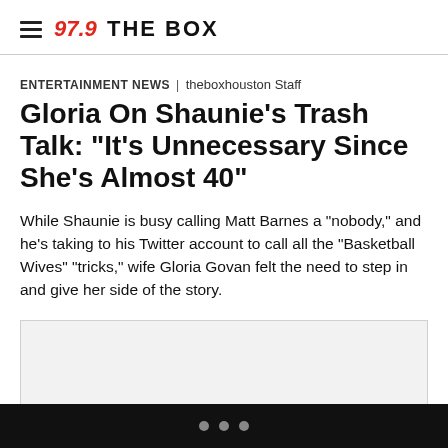97.9 THE BOX
ENTERTAINMENT NEWS | theboxhouston Staff
Gloria On Shaunie's Trash Talk: "It's Unnecessary Since She's Almost 40"
While Shaunie is busy calling Matt Barnes a "nobody," and he's taking to his Twitter account to call all the "Basketball Wives" "tricks," wife Gloria Govan felt the need to step in and give her side of the story.
[Figure (other): Embedded media placeholder box with light gray background]
• • •